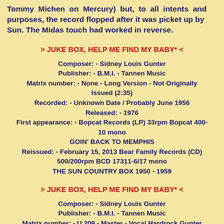Tommy Michen on Mercury) but, to all intents and purposes, the record flopped after it was picket up by Sun. The Midas touch had worked in reverse.
> JUKE BOX, HELP ME FIND MY BABY* <
Composer: - Sidney Louis Gunter
Publisher: - B.M.I. - Tannen Music
Matrix number: - None - Long Version - Not Originally Issued (2:35)
Recorded: - Unknown Date / Probably June 1956
Released: - 1976
First appearance: - Bopcat Records (LP) 33rpm Bopcat 400-10 mono
GOIN' BACK TO MEMPHIS
Reissued: - February 15, 2013 Bear Family Records (CD) 500/200rpm BCD 17311-6/17 mono
THE SUN COUNTRY BOX 1950 - 1959
> JUKE BOX, HELP ME FIND MY BABY* <
Composer: - Sidney Louis Gunter
Publisher: - B.M.I. - Tannen Music
Matrix number: - U 209 - Master - Vocal Hardrock Gunter (2:14)
Recorded: - Unknown Date / Probably June 1956